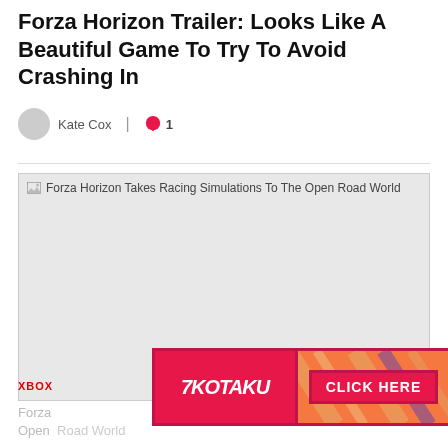Forza Horizon Trailer: Looks Like A Beautiful Game To Try To Avoid Crashing In
Kate Cox  |  💬 1
[Figure (photo): Placeholder image block for Forza Horizon Takes Racing Simulations To The Open Road World]
Forza Horizon Takes Racing Simulations To The Open Road World
XBOX   10 YEARS AGO
Forza Horizon Takes Racing Simulations To The Open Road World — article preview text (partial)
[Figure (advertisement): Kotaku advertisement banner with CLICK HERE button on pink/red background with diagonal stripe pattern]